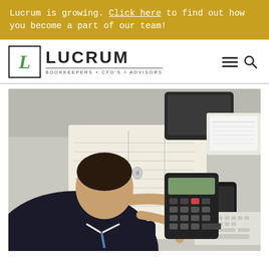Lucrum is growing. Click here to find out how you become a part of our team!
[Figure (logo): Lucrum logo with green italic L in a square box, followed by LUCRUM in bold text and tagline BOOKKEEPERS + CFO'S + ADVISORS]
[Figure (photo): Overhead view of a businessman in a dark suit holding a calculator at a desk with open binders, tablet, smartphone, and keyboard]